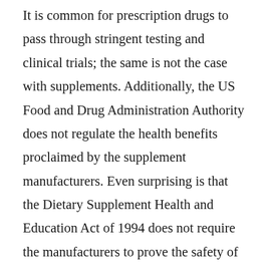It is common for prescription drugs to pass through stringent testing and clinical trials; the same is not the case with supplements. Additionally, the US Food and Drug Administration Authority does not regulate the health benefits proclaimed by the supplement manufacturers. Even surprising is that the Dietary Supplement Health and Education Act of 1994 does not require the manufacturers to prove the safety of these supplements before putting them out for sale. The only requirement for the manufacturers is that they have to prove the safe production conditions of these supplements. Both the requirements are not the same.